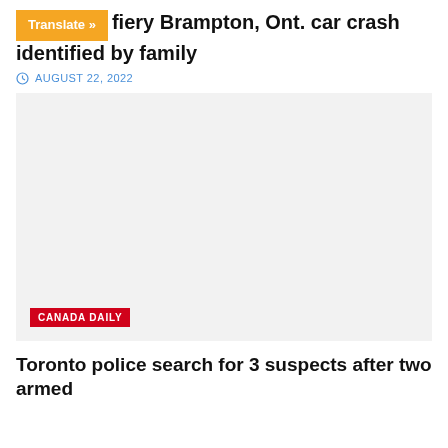5... fiery Brampton, Ont. car crash identified by family
AUGUST 22, 2022
[Figure (photo): Light gray placeholder image with a red 'CANADA DAILY' label in the bottom-left corner]
Toronto police search for 3 suspects after two armed